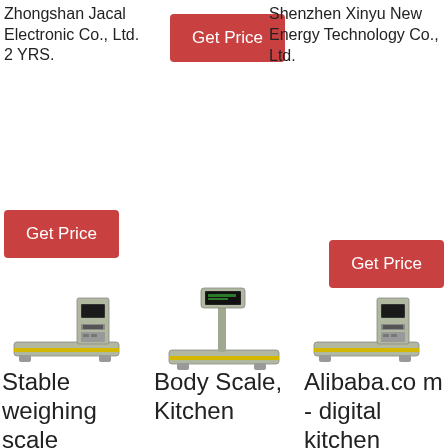Zhongshan Jacal Electronic Co., Ltd.
2 YRS.
[Figure (other): Red 'Get Price' button (top center)]
Shenzhen Xinyu New Energy Technology Co., Ltd.
[Figure (other): Red 'Get Price' button (left lower)]
[Figure (other): Red 'Get Price' button (right lower)]
[Figure (photo): Stable weighing scale product image]
[Figure (photo): Body Scale, Kitchen scale product image]
[Figure (photo): Alibaba.com digital kitchen scale product image]
Stable weighing scale
Body Scale, Kitchen
Alibaba.com - digital kitchen